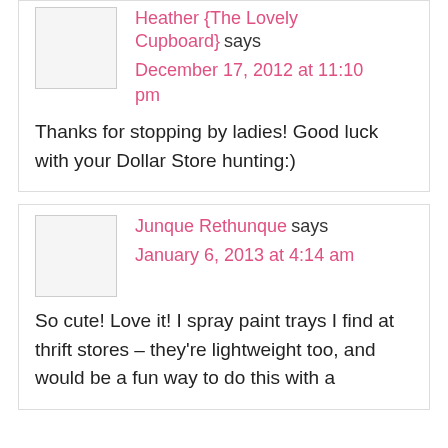Heather {The Lovely Cupboard} says
December 17, 2012 at 11:10 pm
Thanks for stopping by ladies! Good luck with your Dollar Store hunting:)
Junque Rethunque says
January 6, 2013 at 4:14 am
So cute! Love it! I spray paint trays I find at thrift stores – they're lightweight too, and would be a fun way to do this with a